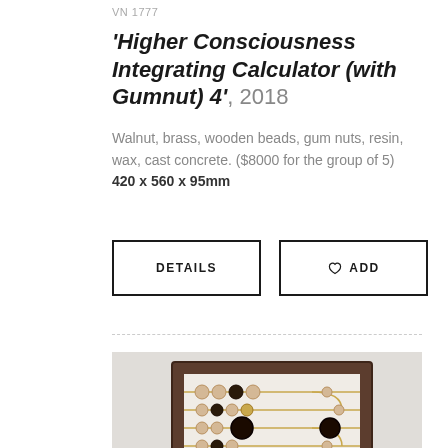VN 1777
'Higher Consciousness Integrating Calculator (with Gumnut) 4', 2018
Walnut, brass, wooden beads, gum nuts, resin, wax, cast concrete. ($8000 for the group of 5) 420 x 560 x 95mm
[Figure (photo): Photograph of an abacus-like wooden framed artwork with brass wires and wooden beads arranged in a grid pattern, with dark and light beads, viewed at a slight angle.]